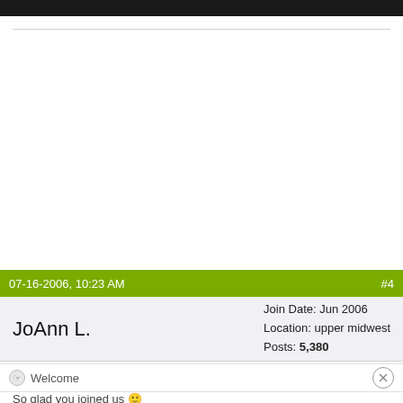[Figure (screenshot): Black top navigation bar of a forum website]
07-16-2006, 10:23 AM #4
JoAnn L.
Join Date: Jun 2006
Location: upper midwest
Posts: 5,380
Welcome
So glad you joined us